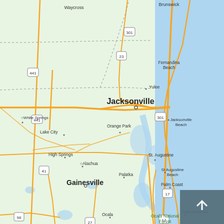[Figure (map): Google Maps screenshot showing northeastern Florida and southeastern Georgia coastline. Visible cities include Jacksonville (bold, center), Gainesville (bold, lower left), Brunswick (top center), Waycross (top left), Fernandina Beach (upper right), Yulee, White Springs, Lake City, Orange Park, Jacksonville Beach, St. Augustine, St. Augustine Beach, Palm Coast, High Springs, Alachua, Palatka, Daytona Beach, Ocala, Ocala National Forest. Highway route numbers visible: 301, 23, 441, 441, 301, 41, 17, 17, 98, 27. The Atlantic Ocean appears as light blue on the right side. Land areas are light green. Roads are shown in yellow/orange. A dark back-to-top button appears in the bottom right corner.]